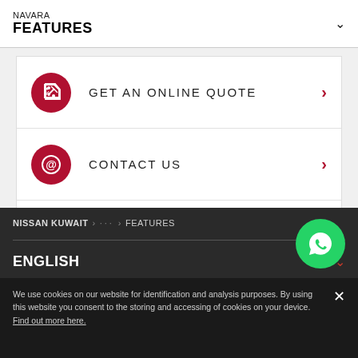NAVARA
FEATURES
GET AN ONLINE QUOTE
CONTACT US
FIND A SHOWROOM
NISSAN KUWAIT > ... > FEATURES
ENGLISH
[Figure (logo): WhatsApp green circle button with phone/chat icon]
We use cookies on our website for identification and analysis purposes. By using this website you consent to the storing and accessing of cookies on your device. Find out more here.